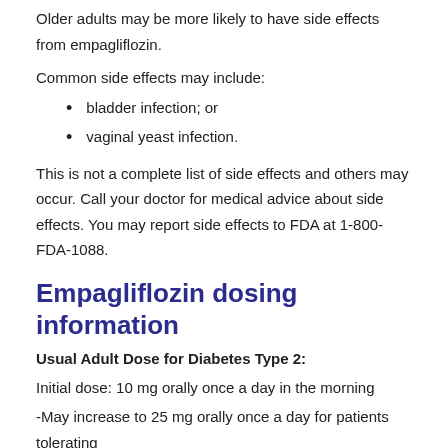Older adults may be more likely to have side effects from empagliflozin.
Common side effects may include:
bladder infection; or
vaginal yeast infection.
This is not a complete list of side effects and others may occur. Call your doctor for medical advice about side effects. You may report side effects to FDA at 1-800-FDA-1088.
Empagliflozin dosing information
Usual Adult Dose for Diabetes Type 2:
Initial dose: 10 mg orally once a day in the morning
-May increase to 25 mg orally once a day for patients tolerating